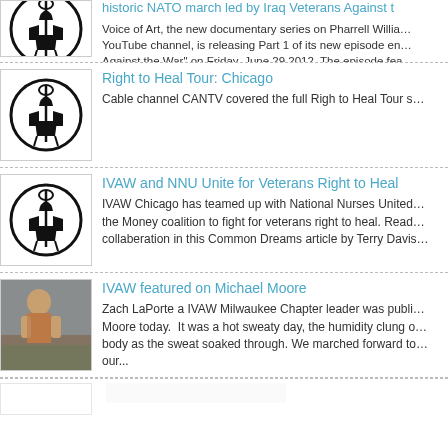[Figure (logo): IVAW circular logo with soldier silhouette]
Voice of Art documentary series releases new episode: historic NATO march led by Iraq Veterans Against the War
Voice of Art, the new documentary series on Pharrell Williams YouTube channel, is releasing Part 1 of its new episode en... Against the War" on Friday, June 29 2012. The episode fea...
[Figure (logo): IVAW circular logo with soldier silhouette]
Right to Heal Tour: Chicago
Cable channel CANTV covered the full Righ to Heal Tour s...
[Figure (logo): IVAW circular logo with soldier silhouette]
IVAW and NNU Unite for Veterans Right to Heal
IVAW Chicago has teamed up with National Nurses United... the Money coalition to fight for veterans right to heal. Read... collaberation in this Common Dreams article by Terry Davis...
[Figure (photo): Photo of a person (Zach LaPorte) at a march]
IVAW featured on Michael Moore
Zach LaPorte a IVAW Milwaukee Chapter leader was publi... Moore today.  It was a hot sweaty day, the humidity clung o... body as the sweat soaked through. We marched forward to... our...